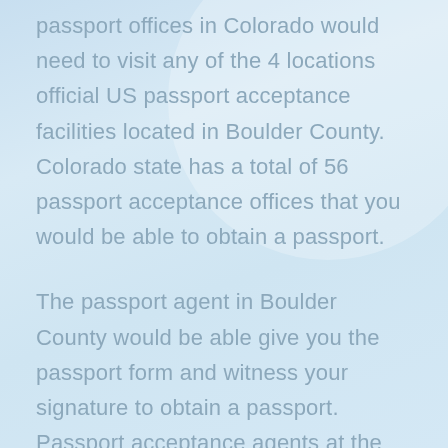passport offices in Colorado would need to visit any of the 4 locations official US passport acceptance facilities located in Boulder County. Colorado state has a total of 56 passport acceptance offices that you would be able to obtain a passport.
The passport agent in Boulder County would be able give you the passport form and witness your signature to obtain a passport. Passport acceptance agents at the Boulder Offices require an appointment so you will have to call the postal office for an appointment.